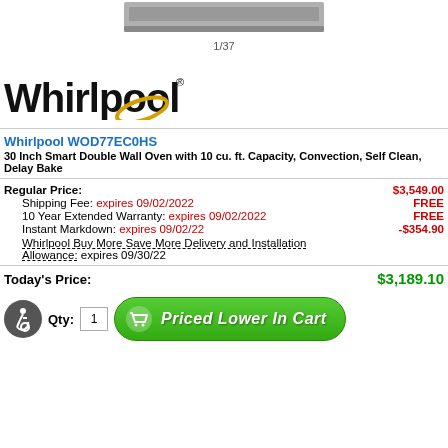[Figure (photo): Whirlpool double wall oven product image, stainless steel, top portion visible]
1/37
[Figure (logo): Whirlpool logo with gold ring around the letter p]
Whirlpool WOD77EC0HS
30 Inch Smart Double Wall Oven with 10 cu. ft. Capacity, Convection, Self Clean, Delay Bake
| Regular Price: | $3,549.00 |
| Shipping Fee: expires 09/02/2022 | FREE |
| 10 Year Extended Warranty: expires 09/02/2022 | FREE |
| Instant Markdown: expires 09/02/22 | -$354.90 |
| Whirlpool Buy More Save More Delivery and Installation Allowance: expires 09/30/22 |  |
Today's Price: $3,189.10
Qty: 1  Priced Lower In Cart